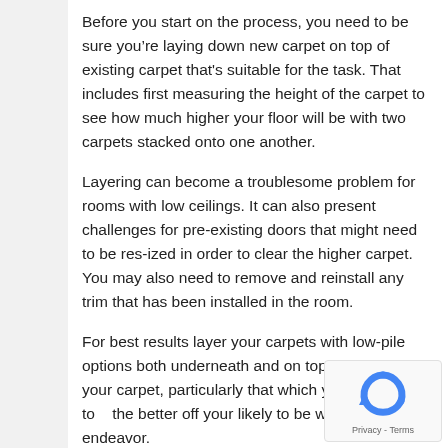Before you start on the process, you need to be sure you're laying down new carpet on top of existing carpet that's suitable for the task. That includes first measuring the height of the carpet to see how much higher your floor will be with two carpets stacked onto one another.
Layering can become a troublesome problem for rooms with low ceilings. It can also present challenges for pre-existing doors that might need to be res-ized in order to clear the higher carpet. You may also need to remove and reinstall any trim that has been installed in the room.
For best results layer your carpets with low-pile options both underneath and on top. The thinner your carpet, particularly that which you place on top, the better off your likely to be with this endeavor.
[Figure (other): reCAPTCHA widget with blue logo icon and Privacy - Terms text]